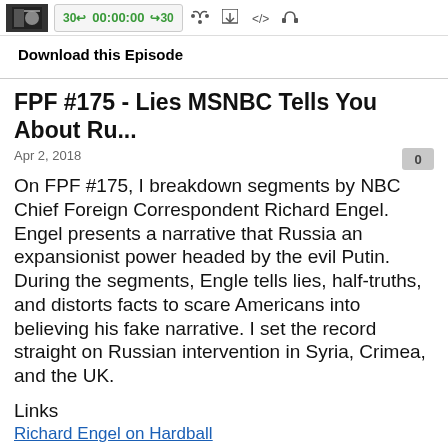[Figure (screenshot): Podcast player bar with thumbnail, playback controls showing '30 back', '00:00:00', '30 forward', and icons for RSS, download, embed, and headphones]
Download this Episode
FPF #175 - Lies MSNBC Tells You About Ru...
Apr 2, 2018
On FPF #175, I breakdown segments by NBC Chief Foreign Correspondent Richard Engel. Engel presents a narrative that Russia an expansionist power headed by the evil Putin. During the segments, Engle tells lies, half-truths, and distorts facts to scare Americans into believing his fake narrative. I set the record straight on Russian intervention in Syria, Crimea, and the UK.
Links
Richard Engel on Hardball